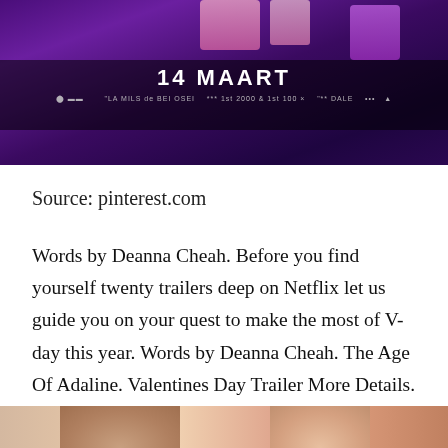[Figure (screenshot): Dark-toned movie/entertainment promotional image with text '14 MAART' in white bold letters centered, with smaller subtitle text below, on a purple/dark background with colorful objects visible]
Source: pinterest.com
Words by Deanna Cheah. Before you find yourself twenty trailers deep on Netflix let us guide you on your quest to make the most of V-day this year. Words by Deanna Cheah. The Age Of Adaline. Valentines Day Trailer More Details.
[Figure (photo): Partial photo at bottom of page showing two people, cropped, only tops of heads/faces visible]